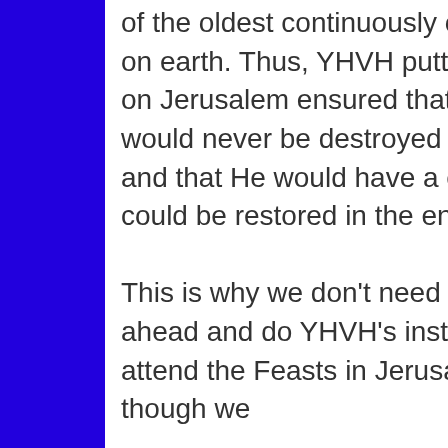of the oldest continuously occupied cities on earth. Thus, YHVH putting His name on Jerusalem ensured that His name would never be destroyed from the earth and that He would have a capital that could be restored in the end of days.

This is why we don't need a Temple to go ahead and do YHVH's instructions to attend the Feasts in Jerusalem even though we